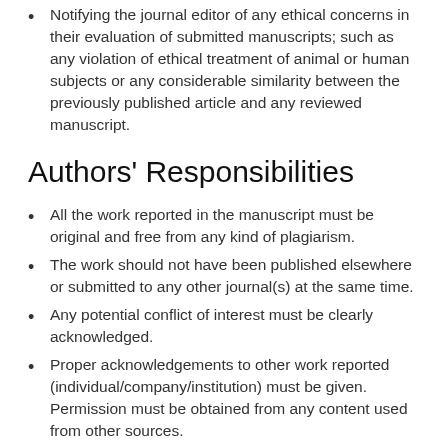Notifying the journal editor of any ethical concerns in their evaluation of submitted manuscripts; such as any violation of ethical treatment of animal or human subjects or any considerable similarity between the previously published article and any reviewed manuscript.
Authors' Responsibilities
All the work reported in the manuscript must be original and free from any kind of plagiarism.
The work should not have been published elsewhere or submitted to any other journal(s) at the same time.
Any potential conflict of interest must be clearly acknowledged.
Proper acknowledgements to other work reported (individual/company/institution) must be given. Permission must be obtained from any content used from other sources.
Only those who have made any substantial contribution to the interpretation or composition of